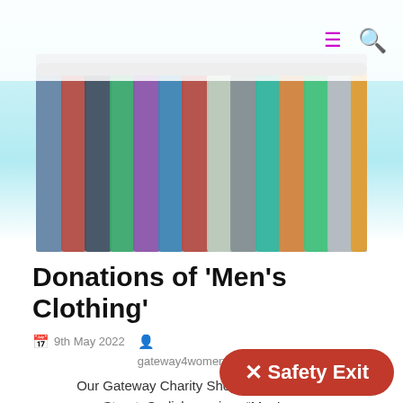[Figure (photo): Colorful clothing items hanging on a rack, showing a row of multi-colored shirts.]
Donations of ‘Men’s Clothing’
9th May 2022  gateway4women_admin
Our Gateway Charity Shop, 56/58 Denton Street, Carlisle are in… “Men’s…
It would be greatly appreciated if the
[Figure (other): ✕Safety Exit button - red pill-shaped button with white text]